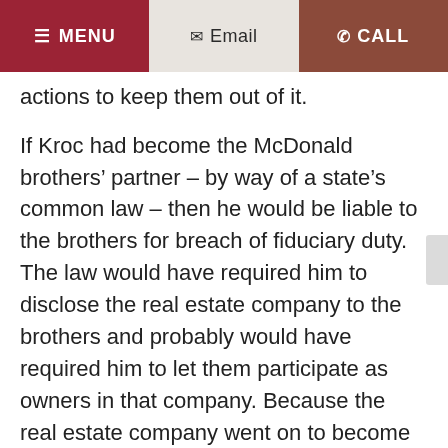≡ MENU   ✉ Email   ✆ CALL
actions to keep them out of it.
If Kroc had become the McDonald brothers' partner – by way of a state's common law – then he would be liable to the brothers for breach of fiduciary duty. The law would have required him to disclose the real estate company to the brothers and probably would have required him to let them participate as owners in that company. Because the real estate company went on to become worth billions, Kroc's potential liability to the brothers would be enormous.